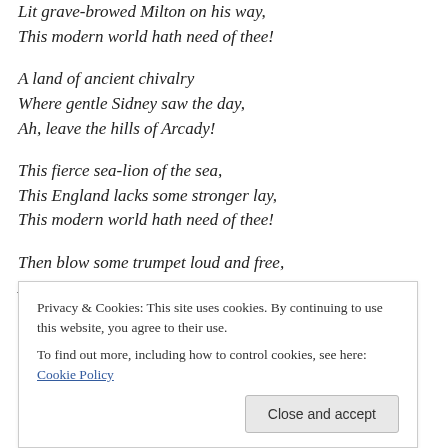Lit grave-browed Milton on his way,
This modern world hath need of thee!
A land of ancient chivalry
Where gentle Sidney saw the day,
Ah, leave the hills of Arcady!
This fierce sea-lion of the sea,
This England lacks some stronger lay,
This modern world hath need of thee!
Then blow some trumpet loud and free,
And give thine oaten pipe away,
Privacy & Cookies: This site uses cookies. By continuing to use this website, you agree to their use. To find out more, including how to control cookies, see here: Cookie Policy